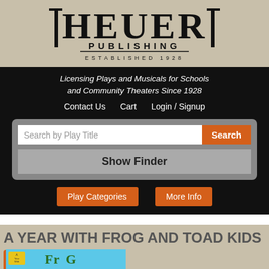[Figure (logo): Heuer Publishing logo — large serif text HEUER with PUBLISHING below and ESTABLISHED 1928 below that]
Licensing Plays and Musicals for Schools and Community Theaters Since 1928
Contact Us   Cart   Login / Signup
Search by Play Title
Search
Show Finder
Play Categories
More Info
A YEAR WITH FROG AND TOAD KIDS
Add to Cart
[Figure (illustration): Book cover for A Year With Frog and Toad Kids — teal/aqua background with illustrated characters]